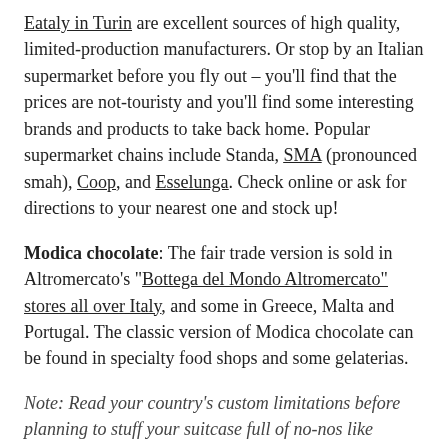Eataly in Turin are excellent sources of high quality, limited-production manufacturers. Or stop by an Italian supermarket before you fly out – you'll find that the prices are not-touristy and you'll find some interesting brands and products to take back home. Popular supermarket chains include Standa, SMA (pronounced smah), Coop, and Esselunga. Check online or ask for directions to your nearest one and stock up!
Modica chocolate: The fair trade version is sold in Altromercato's "Bottega del Mondo Altromercato" stores all over Italy, and some in Greece, Malta and Portugal. The classic version of Modica chocolate can be found in specialty food shops and some gelaterias.
Note: Read your country's custom limitations before planning to stuff your suitcase full of no-nos like buffalo meat and fresh yogurt. Chowhound has a good thread about customs questions being answered by a supposed US Customs agent, but be sure to read